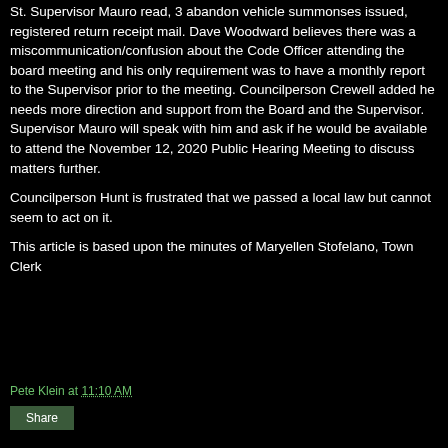St. Supervisor Mauro read, 3 abandon vehicle summonses issued, registered return receipt mail. Dave Woodward believes there was a miscommunication/confusion about the Code Officer attending the board meeting and his only requirement was to have a monthly report to the Supervisor prior to the meeting. Councilperson Crewell added he needs more direction and support from the Board and the Supervisor. Supervisor Mauro will speak with him and ask if he would be available to attend the November 12, 2020 Public Hearing Meeting to discuss matters further.
Councilperson Hunt is frustrated that we passed a local law but cannot seem to act on it.
This article is based upon the minutes of Maryellen Stofelano, Town Clerk
Pete Klein at 11:10 AM